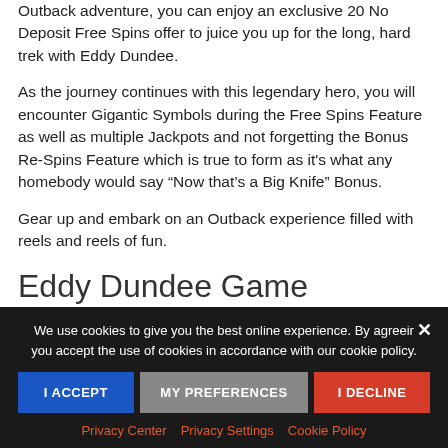Outback adventure, you can enjoy an exclusive 20 No Deposit Free Spins offer to juice you up for the long, hard trek with Eddy Dundee.
As the journey continues with this legendary hero, you will encounter Gigantic Symbols during the Free Spins Feature as well as multiple Jackpots and not forgetting the Bonus Re-Spins Feature which is true to form as it's what any homebody would say “Now that’s a Big Knife” Bonus.
Gear up and embark on an Outback experience filled with reels and reels of fun.
Eddy Dundee Game Symbols
We use cookies to give you the best online experience. By agreeing you accept the use of cookies in accordance with our cookie policy.
I ACCEPT | MY PREFERENCES | I DECLINE
Privacy Center  Privacy Settings  Cookie Policy